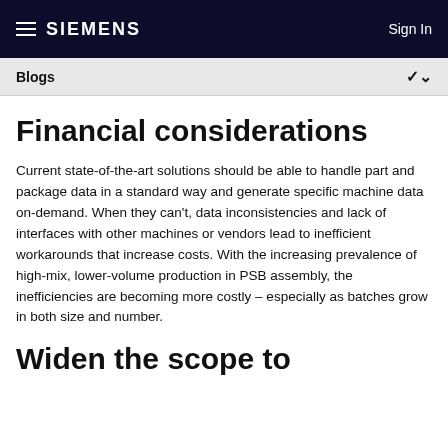SIEMENS   Sign In
Blogs
Financial considerations
Current state-of-the-art solutions should be able to handle part and package data in a standard way and generate specific machine data on-demand. When they can't, data inconsistencies and lack of interfaces with other machines or vendors lead to inefficient workarounds that increase costs. With the increasing prevalence of high-mix, lower-volume production in PSB assembly, the inefficiencies are becoming more costly – especially as batches grow in both size and number.
Widen the scope to